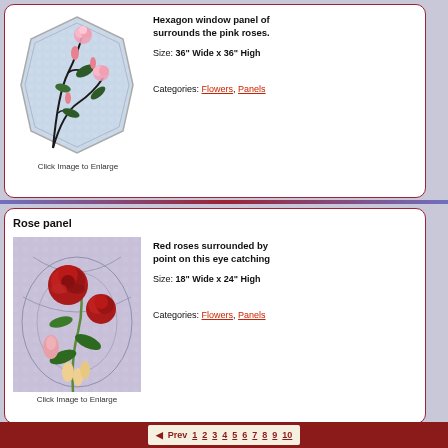[Figure (illustration): Stained glass hexagon window panel with pink roses and dark stems on a textured background]
Click Image to Enlarge
Hexagon window panel of... surrounds the pink roses.
Size: 36" Wide x 36" High
Categories: Flowers, Panels
Rose panel
[Figure (illustration): Stained glass panel with red roses surrounded by curved lines, eye catching design]
Click Image to Enlarge
Red roses surrounded by... point on this eye catching
Size: 18" Wide x 24" High
Categories: Flowers, Panels
Prev 1 2 3 4 5 6 7 8 9 10